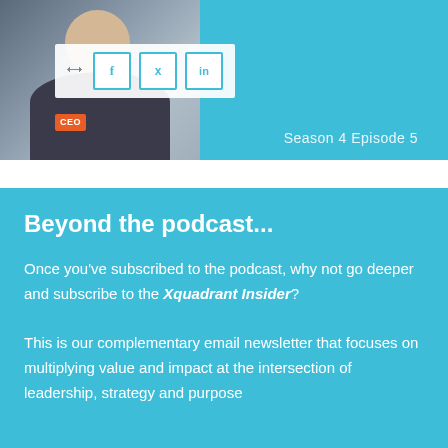[Figure (photo): Top banner with a photo of a man in a dark suit and red tie on the left, social share buttons (Facebook, Twitter, LinkedIn) overlaid, a CEO badge, and 'Season 4 Episode 5' text on the right against a teal background.]
Beyond the podcast...
Once you've subscribed to the podcast, why not go deeper and subscribe to the Xquadrant Insider?
This is our complementary email newsletter that focuses on multiplying value and impact at the intersection of leadership, strategy and purpose